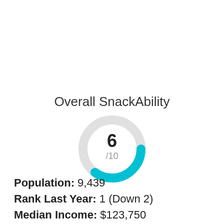Overall SnackAbility
[Figure (donut-chart): Donut chart showing score of 6/10 with a cyan/turquoise ring]
Population: 9,439
Rank Last Year: 1 (Down 2)
Median Income: $123,750
Unemployment Rate: 2.2%
Poverty Rate: 5.8%